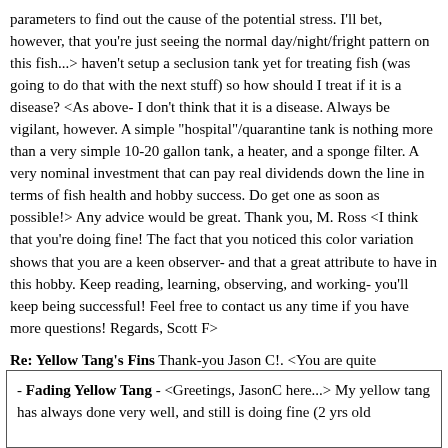parameters to find out the cause of the potential stress. I'll bet, however, that you're just seeing the normal day/night/fright pattern on this fish...> haven't setup a seclusion tank yet for treating fish (was going to do that with the next stuff) so how should I treat if it is a disease? <As above- I don't think that it is a disease. Always be vigilant, however. A simple "hospital"/quarantine tank is nothing more than a very simple 10-20 gallon tank, a heater, and a sponge filter. A very nominal investment that can pay real dividends down the line in terms of fish health and hobby success. Do get one as soon as possible!> Any advice would be great. Thank you, M. Ross <I think that you're doing fine! The fact that you noticed this color variation shows that you are a keen observer- and that a great attribute to have in this hobby. Keep reading, learning, observing, and working- you'll keep being successful! Feel free to contact us any time if you have more questions! Regards, Scott F>
Re: Yellow Tang's Fins Thank-you Jason C!. <You are quite welcome.> forgot to mention I also have two cleaner shrimp and a brown serpent star. The yellow does go to the cleaners.  Is it possible they are picking at the fins? <Not to that extent.> John
<Cheers, J -- >
- Fading Yellow Tang - <Greetings, JasonC here...> My yellow tang has always done very well, and still is doing fine (2 yrs old